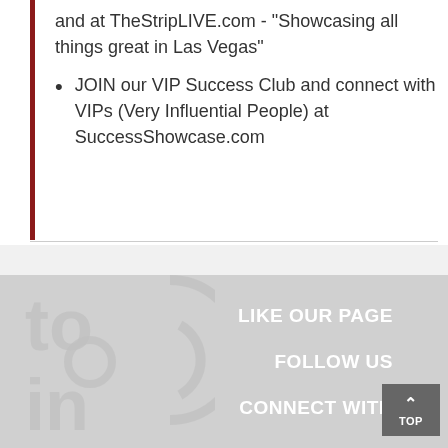and at TheStripLIVE.com - "Showcasing all things great in Las Vegas"
JOIN our VIP Success Club and connect with VIPs (Very Influential People) at SuccessShowcase.com
[Figure (logo): Faded gray logo with letters 'to in' in large stylized font, partial circle and bracket shapes visible]
LIKE OUR PAGE   FOLLOW US   CONNECT WITH